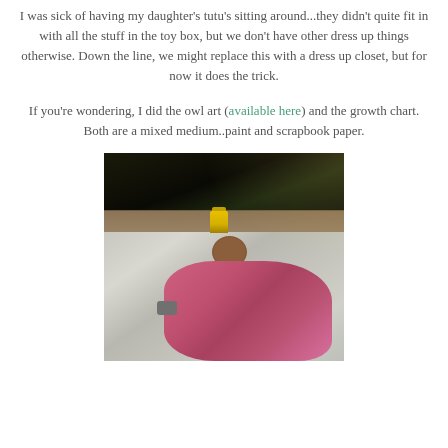I was sick of having my daughter's tutu's sitting around...they didn't quite fit in with all the stuff in the toy box, but we don't have other dress up things otherwise. Down the line, we might replace this with a dress up closet, but for now it does the trick.
If you're wondering, I did the owl art (available here) and the growth chart. Both are a mixed medium..paint and scrapbook paper.
[Figure (photo): Overhead photo of a child painting on a drop cloth outdoors. A yellow paint can is visible on a wooden surface. The child is wearing a pink/purple tie-dye top and has dark hair. Various painting supplies are on the foil-covered surface.]